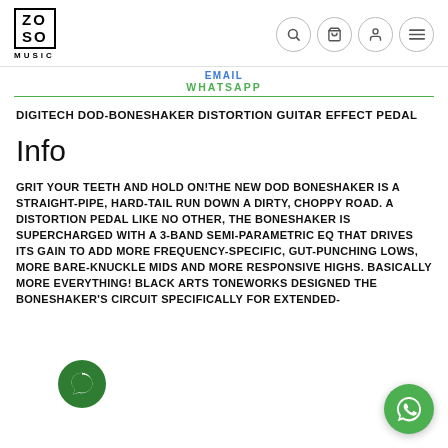ZOSO MUSIC
EMAIL
WHATSAPP
DIGITECH DOD-BONESHAKER DISTORTION GUITAR EFFECT PEDAL
Info
GRIT YOUR TEETH AND HOLD ON!THE NEW DOD BONESHAKER IS A STRAIGHT-PIPE, HARD-TAIL RUN DOWN A DIRTY, CHOPPY ROAD. A DISTORTION PEDAL LIKE NO OTHER, THE BONESHAKER IS SUPERCHARGED WITH A 3-BAND SEMI-PARAMETRIC EQ THAT DRIVES ITS GAIN TO ADD MORE FREQUENCY-SPECIFIC, GUT-PUNCHING LOWS, MORE BARE-KNUCKLE MIDS AND MORE RESPONSIVE HIGHS. BASICALLY MORE EVERYTHING! BLACK ARTS TONEWORKS DESIGNED THE BONESHAKER'S CIRCUIT SPECIFICALLY FOR EXTENDED-